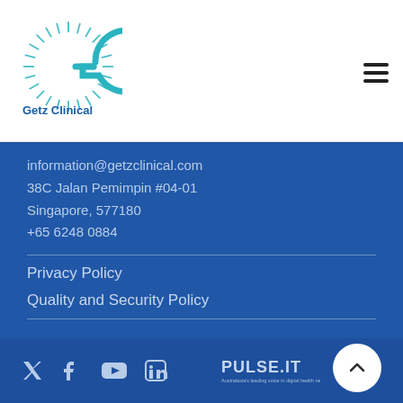[Figure (logo): Getz Clinical logo: teal circular G mark with radiating lines, blue text 'Getz Clinical']
[Figure (other): Hamburger menu icon with three horizontal lines]
information@getzclinical.com
38C Jalan Pemimpin #04-01
Singapore, 577180
+65 6248 0884
Privacy Policy
Quality and Security Policy
[Figure (logo): Social media icons: Twitter, Facebook, YouTube, LinkedIn; PULSE.IT logo with tagline 'Australasia's leading voice in digital health news']
[Figure (other): Scroll-to-top button: white circle with upward chevron]